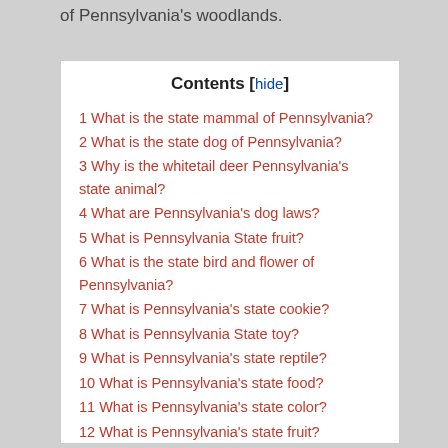of Pennsylvania's woodlands.
Contents [hide]
1 What is the state mammal of Pennsylvania?
2 What is the state dog of Pennsylvania?
3 Why is the whitetail deer Pennsylvania's state animal?
4 What are Pennsylvania's dog laws?
5 What is Pennsylvania State fruit?
6 What is the state bird and flower of Pennsylvania?
7 What is Pennsylvania's state cookie?
8 What is Pennsylvania State toy?
9 What is Pennsylvania's state reptile?
10 What is Pennsylvania's state food?
11 What is Pennsylvania's state color?
12 What is Pennsylvania's state fruit?